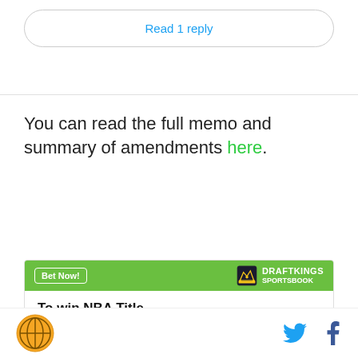Read 1 reply
You can read the full memo and summary of amendments here.
[Figure (other): DraftKings Sportsbook widget showing NBA Title odds: Celtics +550, Warriors +600]
Site logo, Twitter icon, Facebook icon